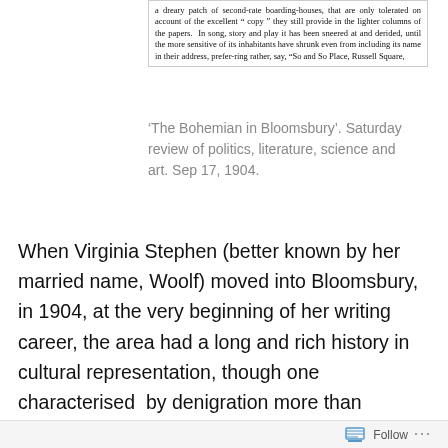[Figure (photo): Scanned excerpt of a historical newspaper or book page with serif text: '...a dreary patch of second-rate boarding-houses, that are only tolerated on account of the excellent "copy" they still provide in the lighter columns of the papers. In song, story and play it has been sneered at and derided, until the more sensitive of its inhabitants have shrunk even from including its name in their address, preferring rather, say, "So and So Place, Russell Square,']
'The Bohemian in Bloomsbury'. Saturday review of politics, literature, science and art. Sep 17, 1904.
When Virginia Stephen (better known by her married name, Woolf) moved into Bloomsbury, in 1904, at the very beginning of her writing career, the area had a long and rich history in cultural representation, though one characterised  by denigration more than celebration. As the passage from a contemporaneously published piece bucking that trend suggests, despite (or rather, because of) its 'banality', 'vulgarity' and 'sordidness', generations of
Follow ...